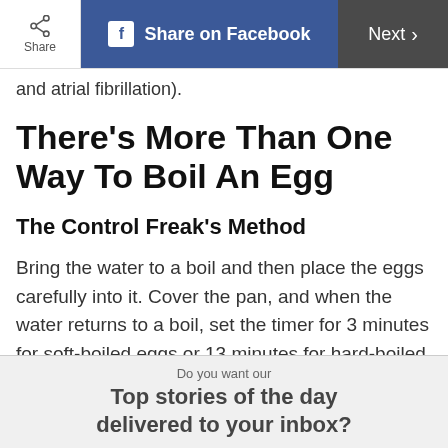Share | Share on Facebook | Next
and atrial fibrillation).
There's More Than One Way To Boil An Egg
The Control Freak's Method
Bring the water to a boil and then place the eggs carefully into it. Cover the pan, and when the water returns to a boil, set the timer for 3 minutes for soft-boiled eggs or 13 minutes for hard-boiled. When the timer goes off, remove the pan from
Do you want our Top stories of the day delivered to your inbox?